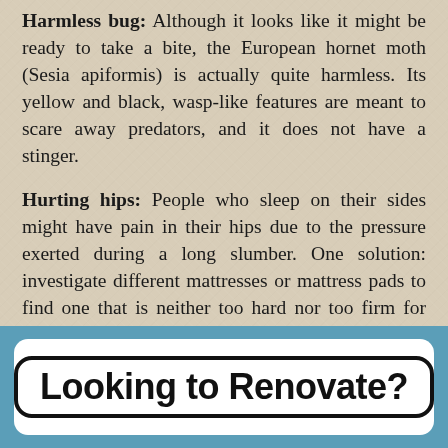Harmless bug: Although it looks like it might be ready to take a bite, the European hornet moth (Sesia apiformis) is actually quite harmless. Its yellow and black, wasp-like features are meant to scare away predators, and it does not have a stinger.
Hurting hips: People who sleep on their sides might have pain in their hips due to the pressure exerted during a long slumber. One solution: investigate different mattresses or mattress pads to find one that is neither too hard nor too firm for your body.
[Figure (other): Advertisement banner with blue background and white inner box containing bold text 'Looking to Renovate?' in a rounded rectangle border]